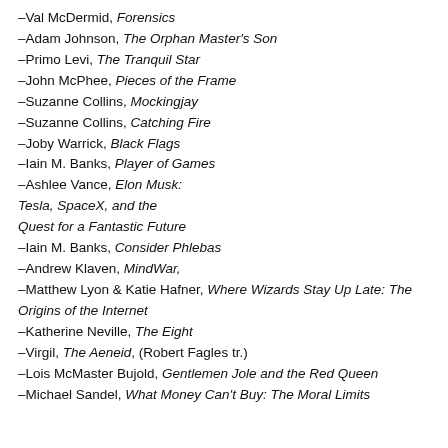–Val McDermid, Forensics
–Adam Johnson, The Orphan Master's Son
–Primo Levi, The Tranquil Star
–John McPhee, Pieces of the Frame
–Suzanne Collins, Mockingjay
–Suzanne Collins, Catching Fire
–Joby Warrick, Black Flags
–Iain M. Banks, Player of Games
–Ashlee Vance, Elon Musk: Tesla, SpaceX, and the Quest for a Fantastic Future
–Iain M. Banks, Consider Phlebas
–Andrew Klaven, MindWar,
–Matthew Lyon & Katie Hafner, Where Wizards Stay Up Late: The Origins of the Internet
–Katherine Neville, The Eight
–Virgil, The Aeneid, (Robert Fagles tr.)
–Lois McMaster Bujold, Gentlemen Jole and the Red Queen
–Michael Sandel, What Money Can't Buy: The Moral Limits